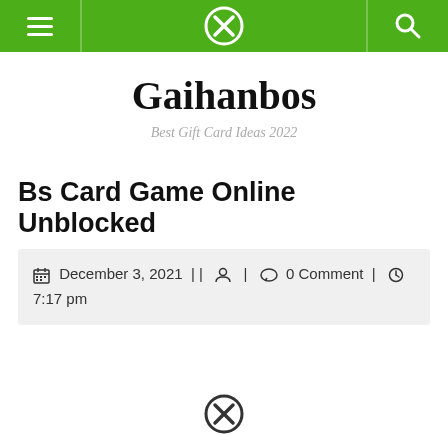Gaihanbos navigation bar
Gaihanbos
Best Gift Card Ideas 2022
Bs Card Game Online Unblocked
December 3, 2021 || | 0 Comment | 7:17 pm